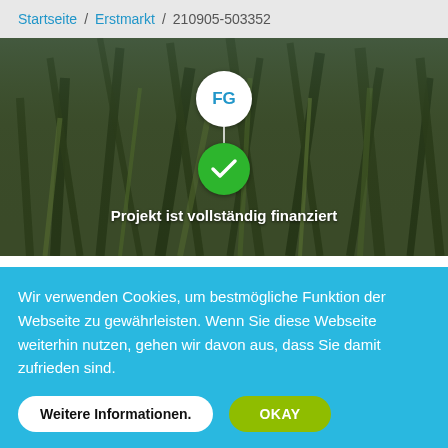Startseite / Erstmarkt / 210905-503352
[Figure (screenshot): Hero background image showing green grass/wheat blades, with a white avatar circle labeled 'FG', a vertical white line, a green checkmark circle below, and bold white text 'Projekt ist vollständig finanziert']
Wir verwenden Cookies, um bestmögliche Funktion der Webseite zu gewährleisten. Wenn Sie diese Webseite weiterhin nutzen, gehen wir davon aus, dass Sie damit zufrieden sind.
Weitere Informationen.
OKAY